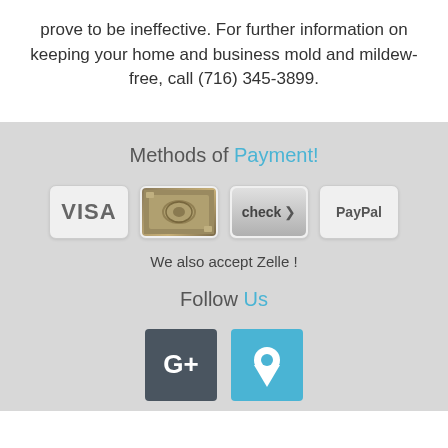prove to be ineffective. For further information on keeping your home and business mold and mildew-free, call (716) 345-3899.
Methods of Payment!
[Figure (infographic): Four payment method icons: VISA, cash (dollar bill image), check (button with arrow), PayPal]
We also accept Zelle !
Follow Us
[Figure (infographic): Two social/location icons: Google+ (dark gray square) and a location pin (cyan/light blue square)]